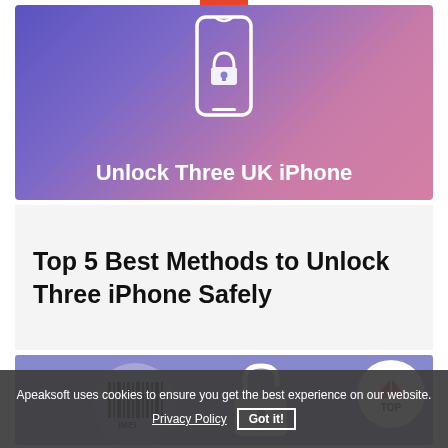[Figure (illustration): Hero banner with purple-to-pink gradient background showing a white iPhone outline with an unlock/lock icon, and bold white text 'Unlock Three UK iPhone']
Top 5 Best Methods to Unlock Three iPhone Safely
[Figure (illustration): Blue/purple banner showing a circular IMEI barcode icon on the left, a white open padlock icon in the center, and a 'TOP' back-to-top button on the right]
Apeaksoft uses cookies to ensure you get the best experience on our website.
Privacy Policy  Got it!